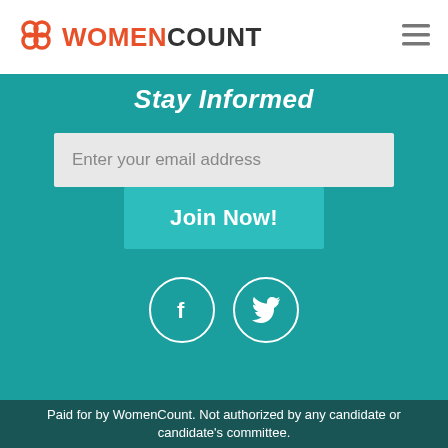WomenCount
Stay Informed
Enter your email address
Join Now!
[Figure (logo): Facebook and Twitter social media icons in white circles on teal background]
Paid for by WomenCount. Not authorized by any candidate or candidate's committee.